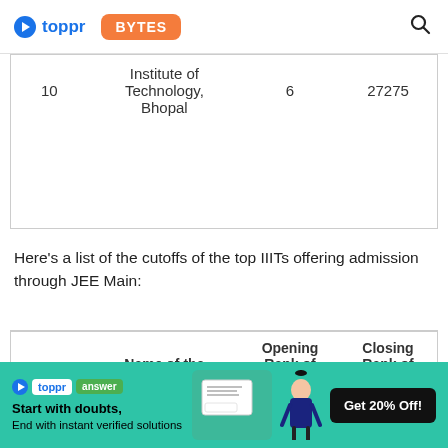toppr BYTES
| S.No | Name of the Institute | Opening Rank of the | Closing Rank of the |
| --- | --- | --- | --- |
| 10 | Institute of Technology, Bhopal | 6 | 27275 |
Here’s a list of the cutoffs of the top IIITs offering admission through JEE Main:
| S.No | Name of the Institute | Opening Rank of the | Closing Rank of the |
| --- | --- | --- | --- |
[Figure (screenshot): Toppr answer app advertisement banner with green background, showing 'Start with doubts, End with instant verified solutions' and 'Get 20% Off!' button]